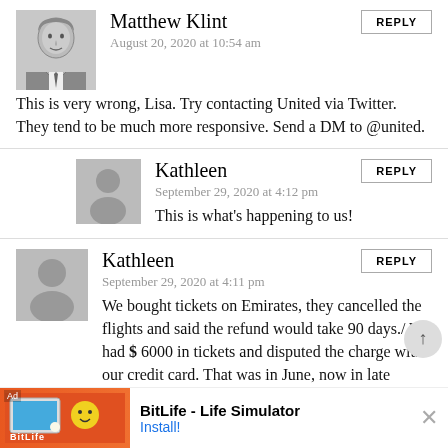[Figure (photo): Avatar photo of Matthew Klint, a man in a suit, black-and-white sketch style]
Matthew Klint
August 20, 2020 at 10:54 am
This is very wrong, Lisa. Try contacting United via Twitter. They tend to be much more responsive. Send a DM to @united.
[Figure (illustration): Generic gray avatar placeholder for Kathleen (indented comment)]
Kathleen
September 29, 2020 at 4:12 pm
This is what's happening to us!
[Figure (illustration): Generic gray avatar placeholder for Kathleen (main comment)]
Kathleen
September 29, 2020 at 4:11 pm
We bought tickets on Emirates, they cancelled the flights and said the refund would take 90 days./ We had $ 6000 in tickets and disputed the charge with our credit card. That was in June, now in late September we are receiving a
[Figure (screenshot): Ad banner for BitLife - Life Simulator app with orange background and install button]